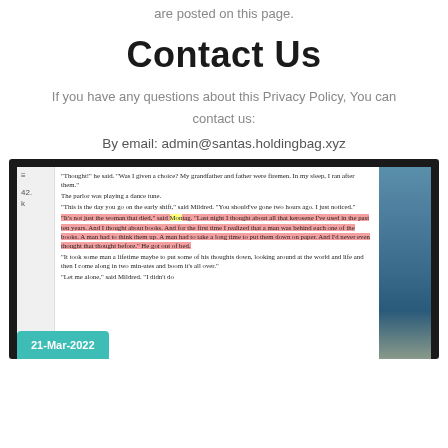are posted on this page.
Contact Us
If you have any questions about this Privacy Policy, You can contact us:
By email: admin@santas.holdingbag.xyz
[Figure (screenshot): Screenshot of a digital reading app showing a passage from a book (Fahrenheit 451), with highlighted text in pink and yellow. A date badge reading '21-Mar-2022' is overlaid in the bottom-left corner. The right side shows a coastal photograph.]